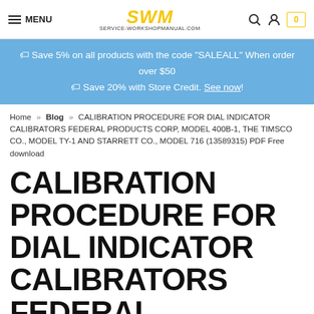MENU | SWM SERVICE-WORKSHOPMANUAL.COM | Search | Account | Cart 0
🏷 Save 5% on all products with the code "SALEALL" When order over $50
🏷 Save 20% with Store Credit. See now!
Home » Blog » CALIBRATION PROCEDURE FOR DIAL INDICATOR CALIBRATORS FEDERAL PRODUCTS CORP, MODEL 400B-1, THE TIMSCO CO., MODEL TY-1 AND STARRETT CO., MODEL 716 (13589315) PDF Free download
CALIBRATION PROCEDURE FOR DIAL INDICATOR CALIBRATORS FEDERAL PRODUCTS CORP